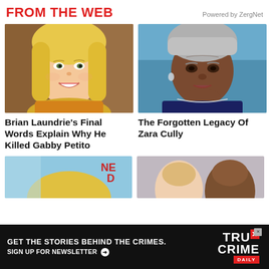FROM THE WEB
Powered by ZergNet
[Figure (photo): Young blonde woman smiling, wearing orange/yellow top, outdoors with rocky background]
Brian Laundrie's Final Words Explain Why He Killed Gabby Petito
[Figure (photo): Elderly Black woman with gray hair, resting her chin on her hand, wearing dark clothing with pearl/crystal earrings, blue background]
The Forgotten Legacy Of Zara Cully
[Figure (photo): Partial view of blonde woman, bottom portion of page]
[Figure (photo): Partial view of person, bottom right portion of page]
GET THE STORIES BEHIND THE CRIMES. SIGN UP FOR NEWSLETTER
[Figure (logo): True Crime Daily logo — TRU CRIME DAILY in red and white]